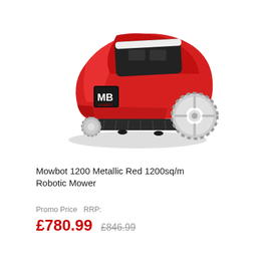[Figure (photo): Mowbot 1200 Metallic Red robotic lawn mower, red body with black top panel, large white wheels, MB Mowbot logo on front, viewed from front-left angle]
Mowbot 1200 Metallic Red 1200sq/m Robotic Mower
Promo Price  RRP:
£780.99  £846.99